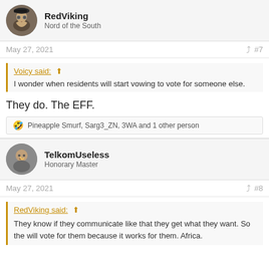RedViking
Nord of the South
May 27, 2021  #7
Voicy said:
I wonder when residents will start vowing to vote for someone else.
They do. The EFF.
🤣 Pineapple Smurf, Sarg3_ZN, 3WA and 1 other person
TelkomUseless
Honorary Master
May 27, 2021  #8
RedViking said:
They know if they communicate like that they get what they want. So the will vote for them because it works for them. Africa.